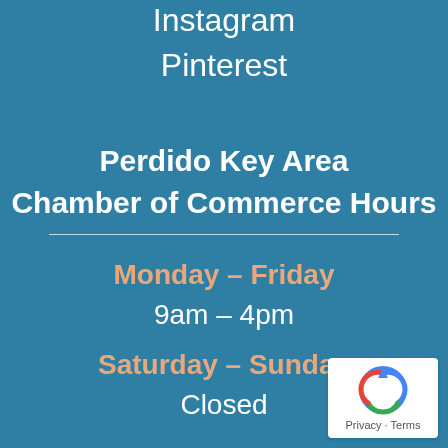Instagram
Pinterest
Perdido Key Area Chamber of Commerce Hours
Monday – Friday
9am – 4pm
Saturday – Sunday
Closed
[Figure (logo): reCAPTCHA Privacy - Terms badge]